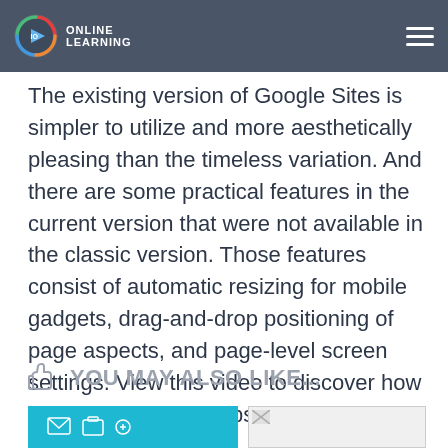Online Learning
The existing version of Google Sites is simpler to utilize and more aesthetically pleasing than the timeless variation. And there are some practical features in the current version that were not available in the classic version. Those features consist of automatic resizing for mobile gadgets, drag-and-drop positioning of page aspects, and page-level screen settings. View this video to discover how to make your first website with Google Sites..
YOU MAY ALSO LIKE...
[Figure (photo): Thumbnail image with teal/blue background showing digital communication icons (envelope, briefcase, etc.)]
[Figure (photo): Placeholder thumbnail image with broken image icon]